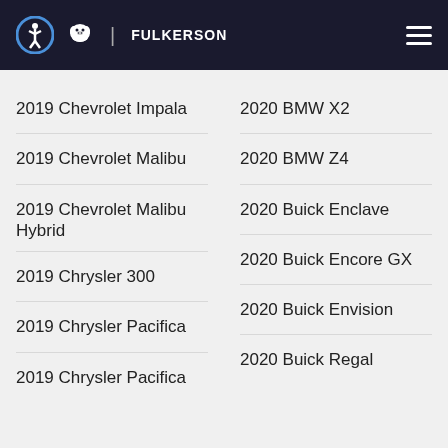ADA | FULKERSON
2019 Chevrolet Impala
2019 Chevrolet Malibu
2019 Chevrolet Malibu Hybrid
2019 Chrysler 300
2019 Chrysler Pacifica
2019 Chrysler Pacifica
2020 BMW X2
2020 BMW Z4
2020 Buick Enclave
2020 Buick Encore GX
2020 Buick Envision
2020 Buick Regal